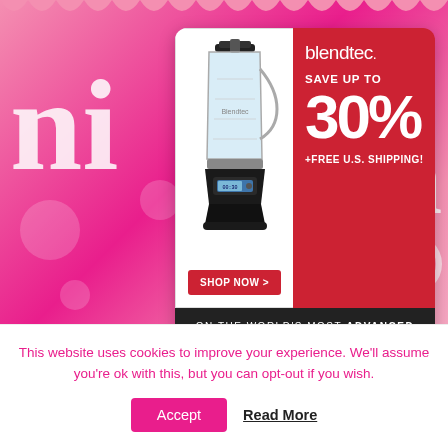[Figure (infographic): Blendtec blender advertisement showing a black blender on the left, with red background on the right showing 'blendtec.' logo, 'SAVE UP TO 30% +FREE U.S. SHIPPING!' text, 'SHOP NOW >' button in red, and dark bottom section reading 'ON THE WORLD'S MOST ADVANCED BLENDER']
FOLLOW NINER ON FACEBOOK
This website uses cookies to improve your experience. We'll assume you're ok with this, but you can opt-out if you wish.
Accept
Read More